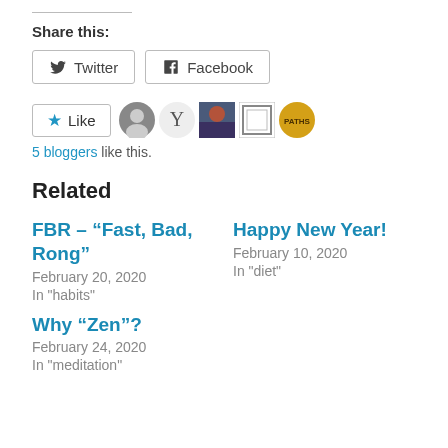Share this:
[Figure (other): Share buttons: Twitter and Facebook]
[Figure (other): Like button with 5 blogger avatars including photo, Y logo, purple image, frame icon, and Paths icon]
5 bloggers like this.
Related
FBR – “Fast, Bad, Rong”
February 20, 2020
In "habits"
Happy New Year!
February 10, 2020
In "diet"
Why “Zen”?
February 24, 2020
In "meditation"